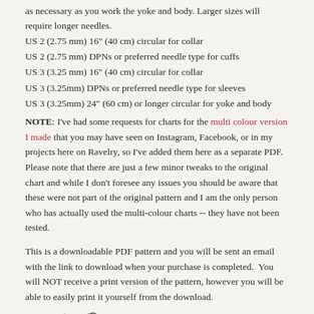as necessary as you work the yoke and body. Larger sizes will require longer needles.
US 2 (2.75 mm) 16" (40 cm) circular for collar
US 2 (2.75 mm) DPNs or preferred needle type for cuffs
US 3 (3.25 mm) 16" (40 cm) circular for collar
US 3 (3.25mm) DPNs or preferred needle type for sleeves
US 3 (3.25mm) 24" (60 cm) or longer circular for yoke and body
NOTE: I've had some requests for charts for the multi colour version I made that you may have seen on Instagram, Facebook, or in my projects here on Ravelry, so I've added them here as a separate PDF. Please note that there are just a few minor tweaks to the original chart and while I don't foresee any issues you should be aware that these were not part of the original pattern and I am the only person who has actually used the multi-colour charts -- they have not been tested.
This is a downloadable PDF pattern and you will be sent an email with the link to download when your purchase is completed. You will NOT receive a print version of the pattern, however you will be able to easily print it yourself from the download.
[Figure (infographic): Social media share icons: Facebook (f), Twitter (bird), Pinterest (p)]